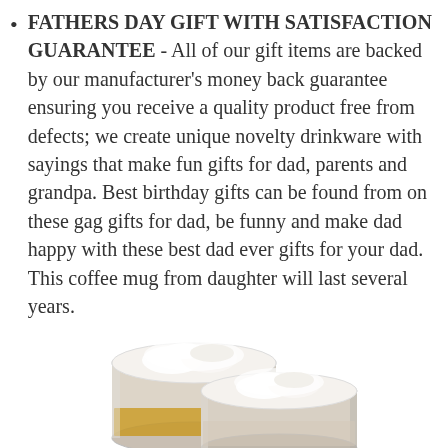FATHERS DAY GIFT WITH SATISFACTION GUARANTEE - All of our gift items are backed by our manufacturer's money back guarantee ensuring you receive a quality product free from defects; we create unique novelty drinkware with sayings that make fun gifts for dad, parents and grandpa. Best birthday gifts can be found from on these gag gifts for dad, be funny and make dad happy with these best dad ever gifts for your dad. This coffee mug from daughter will last several years.
[Figure (photo): Two glass coffee mugs with beer/latte-style foam on top, shown from a slightly elevated angle against a white background.]